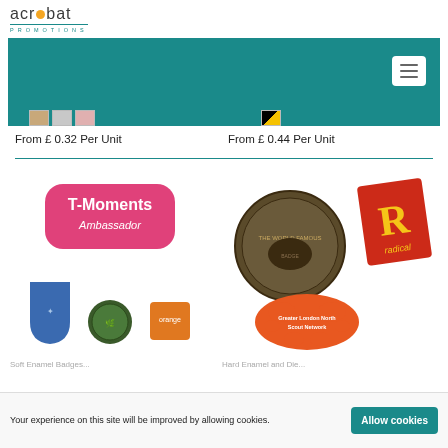[Figure (logo): Acrobat Promotions logo with orange dot between 'acr' and 'bat', with 'promotions' in teal below]
[Figure (screenshot): Teal navigation bar with hamburger menu icon on the right]
[Figure (photo): Color swatches (tan, silver, pink) for left product]
From £ 0.32 Per Unit
[Figure (photo): Color swatch (diagonal black/yellow) for right product]
From £ 0.44 Per Unit
[Figure (photo): Collection of custom badges/pins including T-Moments Ambassador pink badge, blue shield badge, circular green badge, orange square badge]
[Figure (photo): Collection of custom badges including circular world-famous badge, red R Radical badge, orange Greater London North Scout Network splash badge]
Your experience on this site will be improved by allowing cookies.
Allow cookies